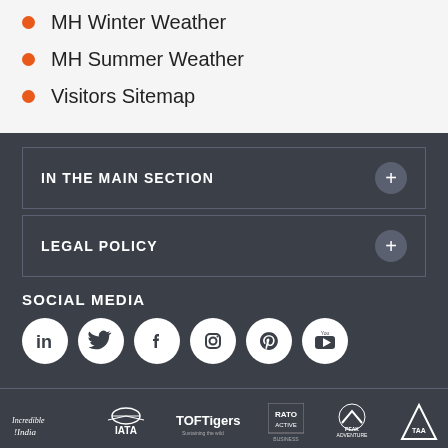MH Winter Weather
MH Summer Weather
Visitors Sitemap
IN THE MAIN SECTION
LEGAL POLICY
SOCIAL MEDIA
[Figure (logo): Social media icons: LinkedIn, Twitter, Facebook, Instagram, Pinterest, YouTube]
[Figure (logo): Partner logos: Incredible India, IATA, TOFTigers, RATO Active, Peak Adventure, TAA triangle logo]
[Figure (logo): TW italic script logo]